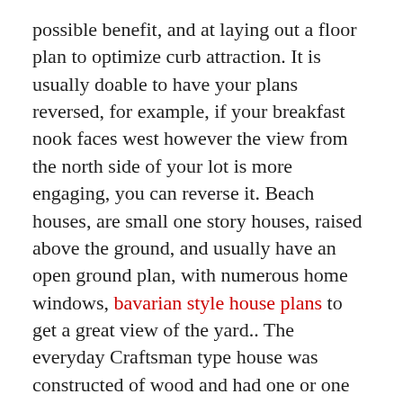possible benefit, and at laying out a floor plan to optimize curb attraction. It is usually doable to have your plans reversed, for example, if your breakfast nook faces west however the view from the north side of your lot is more engaging, you can reverse it. Beach houses, are small one story houses, raised above the ground, and usually have an open ground plan, with numerous home windows, bavarian style house plans to get a great view of the yard.. The everyday Craftsman type house was constructed of wood and had one or one and a half tales. Many of the websites promoting house plans will permit you to see a reversed view, of houses you might want to construct. Farm house and French Country plans may also be included in this category.
At the identical time it is best to keep away from constructing your home in a shady landscape that